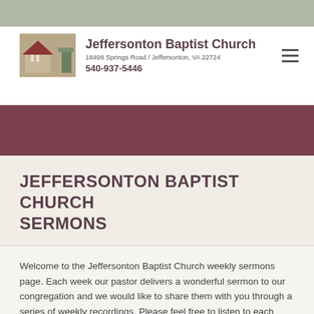[Figure (photo): Gray-green textured top bar]
Jeffersonton Baptist Church
18498 Springs Road / Jeffersonton, VA 22724
540-937-5446
[Figure (photo): Burgundy/mauve banner image]
JEFFERSONTON BAPTIST CHURCH SERMONS
Welcome to the Jeffersonton Baptist Church weekly sermons page. Each week our pastor delivers a wonderful sermon to our congregation and we would like to share them with you through a series of weekly recordings. Please feel free to listen to each sermon below and visit us at the church on Sunday to be a part of our worship service.
Worship Service 12/11/2016